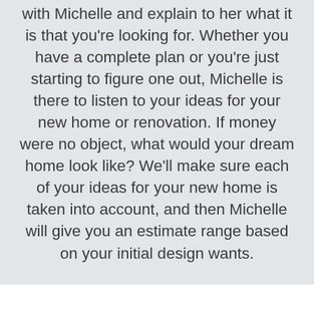with Michelle and explain to her what it is that you're looking for. Whether you have a complete plan or you're just starting to figure one out, Michelle is there to listen to your ideas for your new home or renovation. If money were no object, what would your dream home look like? We'll make sure each of your ideas for your new home is taken into account, and then Michelle will give you an estimate range based on your initial design wants.